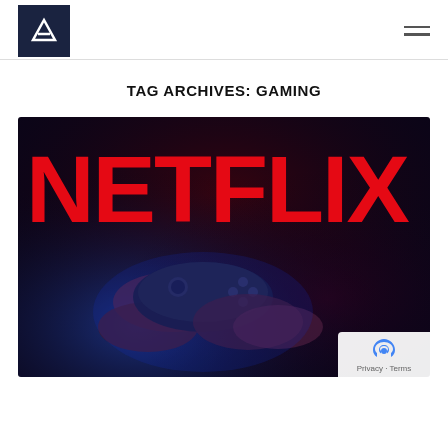V logo and navigation menu
TAG ARCHIVES: GAMING
[Figure (photo): Netflix logo in large red letters on a dark background, with two hands holding a video game controller in blue/purple lighting in the foreground]
Privacy · Terms